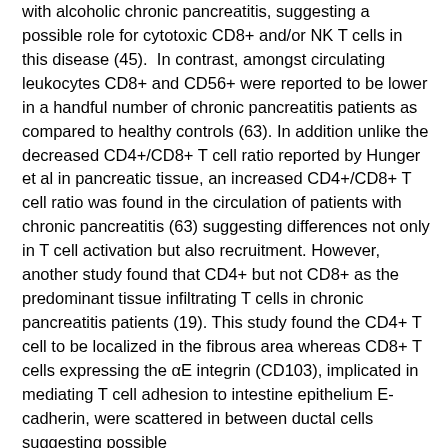with alcoholic chronic pancreatitis, suggesting a possible role for cytotoxic CD8+ and/or NK T cells in this disease (45).  In contrast, amongst circulating leukocytes CD8+ and CD56+ were reported to be lower in a handful number of chronic pancreatitis patients as compared to healthy controls (63). In addition unlike the decreased CD4+/CD8+ T cell ratio reported by Hunger et al in pancreatic tissue, an increased CD4+/CD8+ T cell ratio was found in the circulation of patients with chronic pancreatitis (63) suggesting differences not only in T cell activation but also recruitment. However, another study found that CD4+ but not CD8+ as the predominant tissue infiltrating T cells in chronic pancreatitis patients (19). This study found the CD4+ T cell to be localized in the fibrous area whereas CD8+ T cells expressing the αE integrin (CD103), implicated in mediating T cell adhesion to intestine epithelium E-cadherin, were scattered in between ductal cells suggesting possible